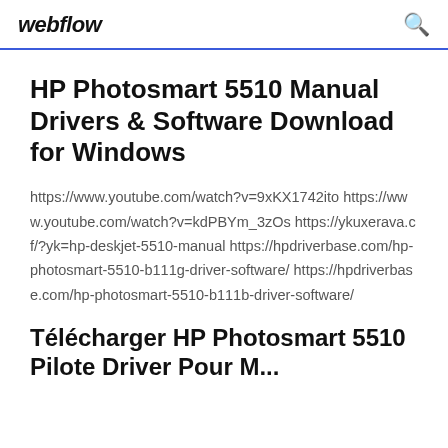webflow
HP Photosmart 5510 Manual Drivers & Software Download for Windows
https://www.youtube.com/watch?v=9xKX1742ito https://www.youtube.com/watch?v=kdPBYm_3zOs https://ykuxerava.cf/?yk=hp-deskjet-5510-manual https://hpdriverbase.com/hp-photosmart-5510-b111g-driver-software/ https://hpdriverbase.com/hp-photosmart-5510-b111b-driver-software/
Télécharger HP Photosmart 5510 Pilote Driver Pour M...